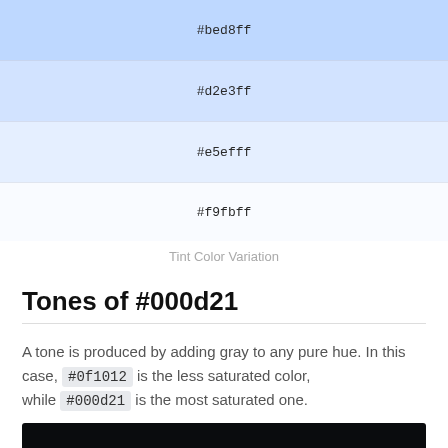[Figure (infographic): Color swatch showing #bed8ff light blue]
[Figure (infographic): Color swatch showing #d2e3ff lighter blue]
[Figure (infographic): Color swatch showing #e5efff very light blue]
[Figure (infographic): Color swatch showing #f9fbff near white blue]
Tint Color Variation
Tones of #000d21
A tone is produced by adding gray to any pure hue. In this case, #0f1012 is the less saturated color, while #000d21 is the most saturated one.
[Figure (infographic): Dark color swatch showing #0f1012]